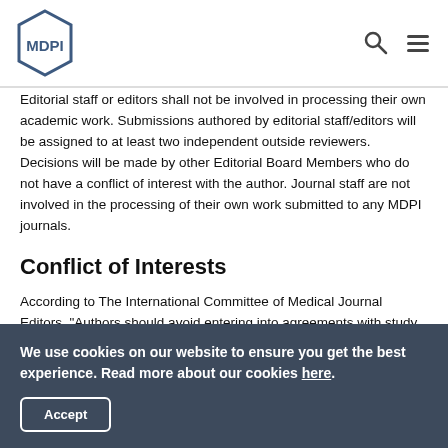MDPI
Editorial staff or editors shall not be involved in processing their own academic work. Submissions authored by editorial staff/editors will be assigned to at least two independent outside reviewers. Decisions will be made by other Editorial Board Members who do not have a conflict of interest with the author. Journal staff are not involved in the processing of their own work submitted to any MDPI journals.
Conflict of Interests
According to The International Committee of Medical Journal Editors, “Authors should avoid entering into agreements with study sponsors, both for-profit and non-profit that interfere with authors’ access to all of
We use cookies on our website to ensure you get the best experience. Read more about our cookies here.
Accept